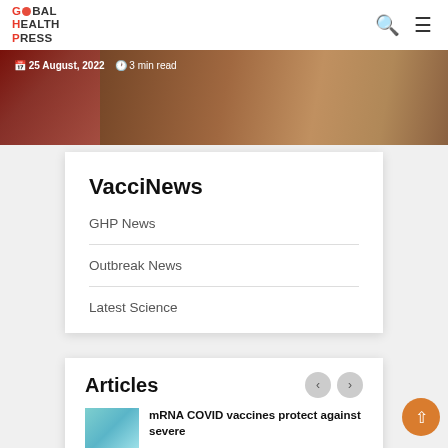Global Health Press — navigation header with search and menu icons
[Figure (photo): Hero banner image — warm brown/russet tones, partially visible medical/vaccine related imagery with date and read-time overlay]
25 August, 2022  3 min read
VacciNews
GHP News
Outbreak News
Latest Science
Articles
mRNA COVID vaccines protect against severe